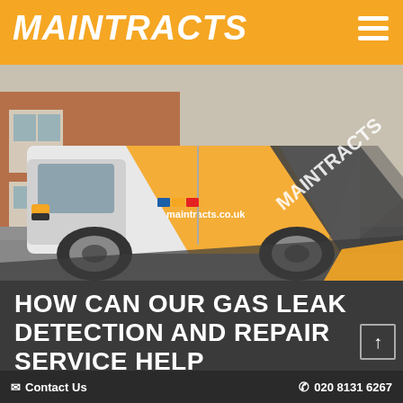MAINTRACTS
[Figure (photo): A white Maintracts-branded van with orange and dark grey diagonal livery parked on a street in front of a red brick building. The van displays the maintracts.co.uk website and phone number 020 8082 3344.]
HOW CAN OUR GAS LEAK DETECTION AND REPAIR SERVICE HELP CUSTOMERS IN LONDON?
✉ Contact Us   ✆ 020 8131 6267